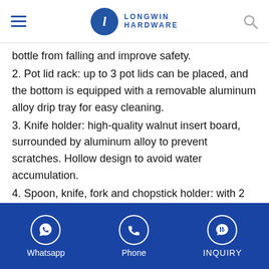Longwin Hardware
bottle from falling and improve safety.
2. Pot lid rack: up to 3 pot lids can be placed, and the bottom is equipped with a removable aluminum alloy drip tray for easy cleaning.
3. Knife holder: high-quality walnut insert board, surrounded by aluminum alloy to prevent scratches. Hollow design to avoid water accumulation.
4. Spoon, knife, fork and chopstick holder: with 2 removable environmentally friendly plastic boxes for easy sorting and placement. There is an integrated aluminum alloy drip tray at the bottom.
5. The length of the hanging rod can be freely selected for
Whatsapp  Phone  INQUIRY